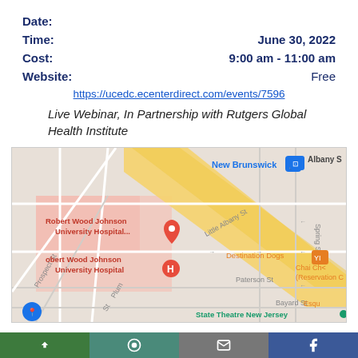Date:
Time:    June 30, 2022
Cost:    9:00 am - 11:00 am
Website:    Free
https://ucedc.ecenterdirect.com/events/7596
Live Webinar, In Partnership with Rutgers Global Health Institute
[Figure (map): Google Maps screenshot showing New Brunswick NJ area with Robert Wood Johnson University Hospital, Destination Dogs, State Theatre New Jersey, and nearby streets including Little Albany St, Paterson St, Bayard St, Spring St, Prospect St, Plum St.]
[Figure (other): Social share bar with four colored segments (green, teal, gray, blue) with icons]